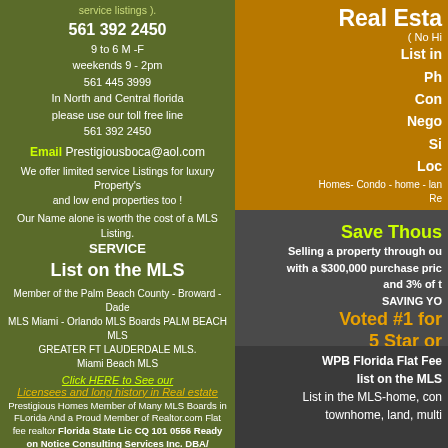service listings ).
561 392 2450
9 to 6 M -F
weekends 9 - 2pm
561 445 3999
In North and Central florida
please use our toll free line
561 392 2450
Email Prestigiousboca@aol.com
We offer limited service Listings for luxury Property's and low end properties too !
Our Name alone is worth the cost of a MLS Listing.
SERVICE
List on the MLS
Member of the Palm Beach County - Broward - Dade MLS Miami - Orlando MLS Boards PALM BEACH MLS GREATER FT LAUDERDALE MLS.
Miami Beach MLS
Click HERE to See our
Licensees and long history in Real estate
Prestigious Homes Member of Many MLS Boards in FLorida And a Proud Member of Realtor.com Flat fee realtor Florida State Lic CQ 101 0556 Ready on Notice Consulting Services Inc. DBA/ Prestigious Homes Realty Real Estate of Tamarac, reduced commissions
[Figure (other): Five star award badge - Listed At Real Estate AWARD]
Real Esta...
( No Hi...
List in...
Ph...
Con...
Nego...
Si...
Loc...
Homes- Condo - home - lan...
Re...
Save Thous...
Selling a property through ou... with a $300,000 purchase pric... and 3% of t...
SAVING YO...
Voted #1 for...
5 Star or...
In T...
(see...
Pricing Pl...
WPB Florida Flat Fee... list on the MLS...
List in the MLS-home, con... townhome, land, multi...